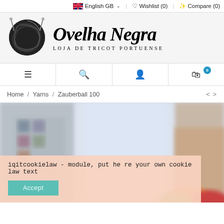English GB | Wishlist (0) | Compare (0)
[Figure (logo): Ovelha Negra logo: a black ball of yarn with knitting needles, beside italic serif text 'Ovelha Negra' with subtitle 'Loja de Tricot Portuense']
Navigation bar with menu, search, account, and cart (0 items) icons
Home / Yarns / Zauberball 100
[Figure (photo): Blurred background photo of a yarn shop interior with shelves of yarn and a person knitting, with colorful yarn balls visible in the foreground]
iqitcookielaw - module, put here your own cookie law text
Accept